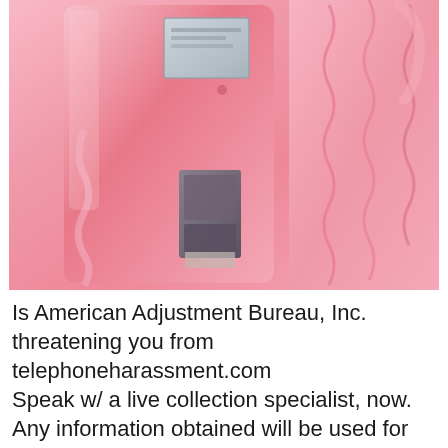[Figure (photo): Close-up photograph of pink vintage payphone(s) with coiled cord, coin slot, and keypad visible, tinted entirely in shades of pink]
Is American Adjustment Bureau, Inc. threatening you from telephoneharassment.com Speak w/ a live collection specialist, now. Any information obtained will be used for